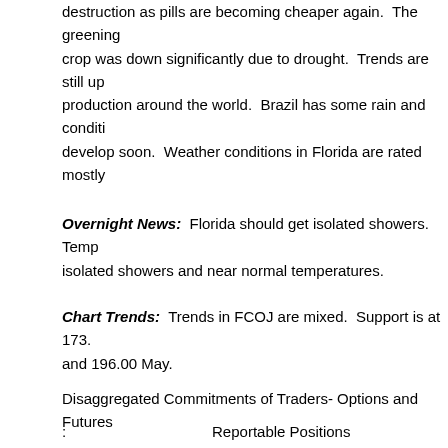destruction as pills are becoming cheaper again.  The greening crop was down significantly due to drought.  Trends are still up production around the world.  Brazil has some rain and conditions develop soon.  Weather conditions in Florida are rated mostly
Overnight News:  Florida should get isolated showers.  Temperatures isolated showers and near normal temperatures.
Chart Trends:  Trends in FCOJ are mixed.  Support is at 173. and 196.00 May.
Disaggregated Commitments of Traders- Options and Futures
:                              Reportable Positions
:___________________________________________
: Producer/Merchant :                      :                      :
:  Processor/User  :      Swap Dealers      :      Managed M
:  Long  :  Short  :  Long  :  Short  :Spreading:  Long  :  Short